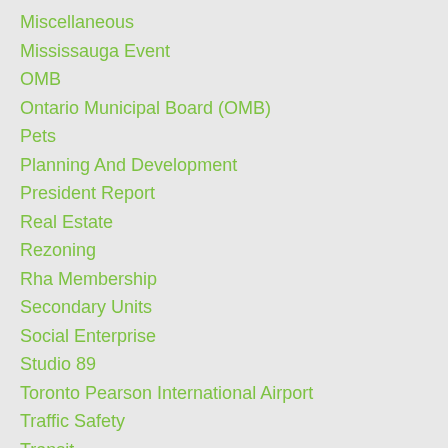Miscellaneous
Mississauga Event
OMB
Ontario Municipal Board (OMB)
Pets
Planning And Development
President Report
Real Estate
Rezoning
Rha Membership
Secondary Units
Social Enterprise
Studio 89
Toronto Pearson International Airport
Traffic Safety
Transit
TRCA
Volunteer Opportunity
Wildlife